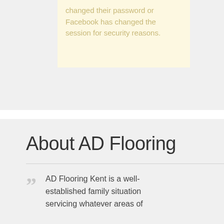changed their password or Facebook has changed the session for security reasons.
About AD Flooring
AD Flooring Kent is a well-established family situation servicing whatever areas of